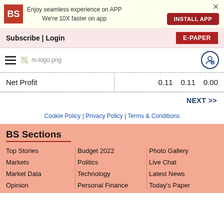[Figure (screenshot): App promotion banner with BS logo, text 'Enjoy seamless experience on APP We're 10X faster on app', INSTALL APP button, and X close button]
Subscribe | Login
E-PAPER
[Figure (logo): Hamburger menu icon, m-logo.png image placeholder, and user icon]
| Net Profit | 0.11 | 0.11 | 0.00 |
NEXT >>
Cookie Policy | Privacy Policy | Terms & Conditions
BS Sections
Top Stories
Markets
Market Data
Opinion
Budget 2022
Politics
Technology
Personal Finance
Photo Gallery
Live Chat
Latest News
Today's Paper